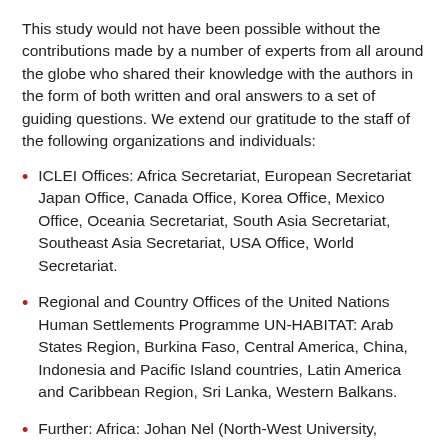This study would not have been possible without the contributions made by a number of experts from all around the globe who shared their knowledge with the authors in the form of both written and oral answers to a set of guiding questions. We extend our gratitude to the staff of the following organizations and individuals:
ICLEI Offices: Africa Secretariat, European Secretariat Japan Office, Canada Office, Korea Office, Mexico Office, Oceania Secretariat, South Asia Secretariat, Southeast Asia Secretariat, USA Office, World Secretariat.
Regional and Country Offices of the United Nations Human Settlements Programme UN-HABITAT: Arab States Region, Burkina Faso, Central America, China, Indonesia and Pacific Island countries, Latin America and Caribbean Region, Sri Lanka, Western Balkans.
Further: Africa: Johan Nel (North-West University,